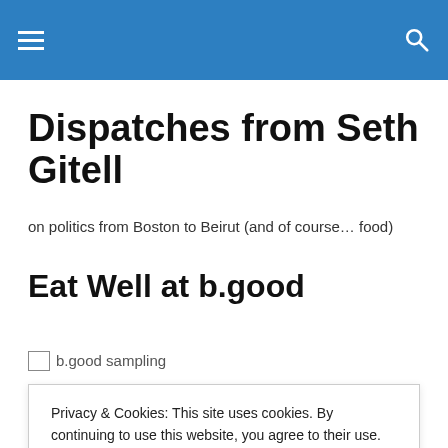Dispatches from Seth Gitell — navigation header with hamburger menu and search icon
Dispatches from Seth Gitell
on politics from Boston to Beirut (and of course… food)
Eat Well at b.good
[Figure (photo): b.good sampling — broken/loading image placeholder]
Privacy & Cookies: This site uses cookies. By continuing to use this website, you agree to their use.
To find out more, including how to control cookies, see here: Cookie Policy
Ever since I walked out of the Bread & Circus on Prospect